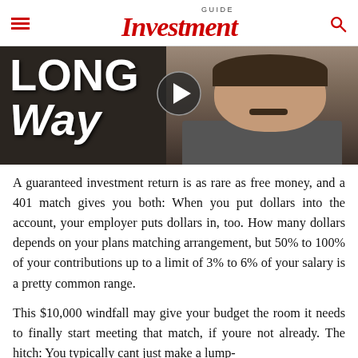GUIDE Investment
[Figure (photo): Video thumbnail showing text 'LONG Way' on left and a man with mustache wearing grey t-shirt on right, with a play button icon in the center]
A guaranteed investment return is as rare as free money, and a 401 match gives you both: When you put dollars into the account, your employer puts dollars in, too. How many dollars depends on your plans matching arrangement, but 50% to 100% of your contributions up to a limit of 3% to 6% of your salary is a pretty common range.
This $10,000 windfall may give your budget the room it needs to finally start meeting that match, if youre not already. The hitch: You typically cant just make a lump-